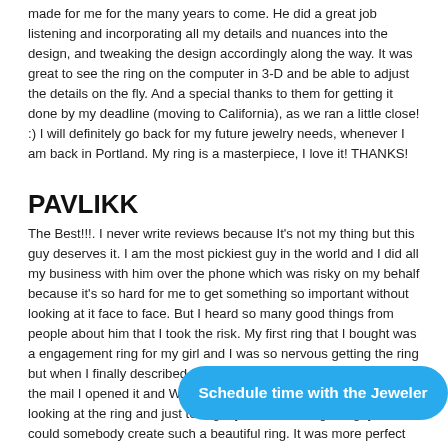made for me for the many years to come. He did a great job listening and incorporating all my details and nuances into the design, and tweaking the design accordingly along the way. It was great to see the ring on the computer in 3-D and be able to adjust the details on the fly. And a special thanks to them for getting it done by my deadline (moving to California), as we ran a little close! :) I will definitely go back for my future jewelry needs, whenever I am back in Portland. My ring is a masterpiece, I love it! THANKS!
PAVLIKK
The Best!!!. I never write reviews because It's not my thing but this guy deserves it. I am the most pickiest guy in the world and I did all my business with him over the phone which was risky on my behalf because it's so hard for me to get something so important without looking at it face to face. But I heard so many good things from people about him that I took the risk. My first ring that I bought was a engagement ring for my girl and I was so nervous getting the ring but when I finally described to him how I want it and than I got it in the mail I opened it and WOW!, it's been 5 months and I can't stop looking at the ring and just telling myself, "What a great guy" how could somebody create such a beautiful ring. It was more perfect than I described to him. I could talk forever about how satisfied I am. I ended up going back to him for the wedding bands also. I just recieved them in the ma... better. i am the hardest p... the rings that I ordered is just perfect. 100% happy customer. The prices are cheaper than anybody else that I have encountered and the time he spent with me on the phone and his customer service is very honorable. Thanks Steve.
Schedule time with the Jeweler